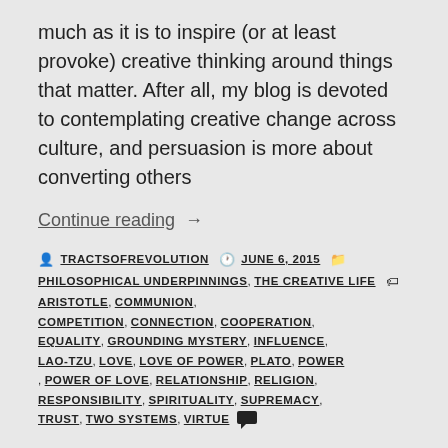much as it is to inspire (or at least provoke) creative thinking around things that matter. After all, my blog is devoted to contemplating creative change across culture, and persuasion is more about converting others
Continue reading →
By TRACTSOFREVOLUTION  JUNE 6, 2015  PHILOSOPHICAL UNDERPINNINGS, THE CREATIVE LIFE  ARISTOTLE, COMMUNION, COMPETITION, CONNECTION, COOPERATION, EQUALITY, GROUNDING MYSTERY, INFLUENCE, LAO-TZU, LOVE, LOVE OF POWER, PLATO, POWER, POWER OF LOVE, RELATIONSHIP, RELIGION, RESPONSIBILITY, SPIRITUALITY, SUPREMACY, TRUST, TWO SYSTEMS, VIRTUE